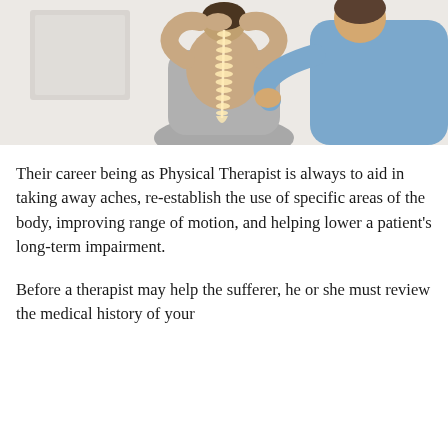[Figure (photo): A physical therapist in a blue shirt examining the bare back of a patient seated on a table. An illustrated spine overlay is visible on the patient's back.]
Their career being as Physical Therapist is always to aid in taking away aches, re-establish the use of specific areas of the body, improving range of motion, and helping lower a patient's long-term impairment.
Before a therapist may help the sufferer, he or she must review the medical history of your